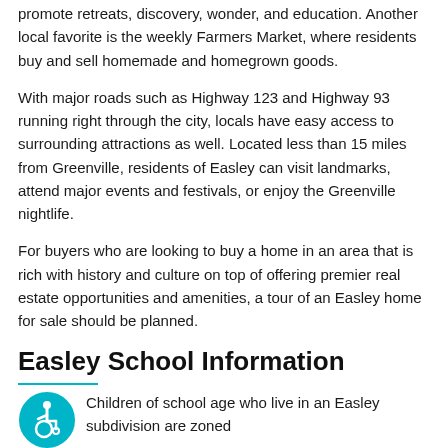promote retreats, discovery, wonder, and education. Another local favorite is the weekly Farmers Market, where residents buy and sell homemade and homegrown goods.
With major roads such as Highway 123 and Highway 93 running right through the city, locals have easy access to surrounding attractions as well. Located less than 15 miles from Greenville, residents of Easley can visit landmarks, attend major events and festivals, or enjoy the Greenville nightlife.
For buyers who are looking to buy a home in an area that is rich with history and culture on top of offering premier real estate opportunities and amenities, a tour of an Easley home for sale should be planned.
Easley School Information
Children of school age who live in an Easley subdivision are zoned